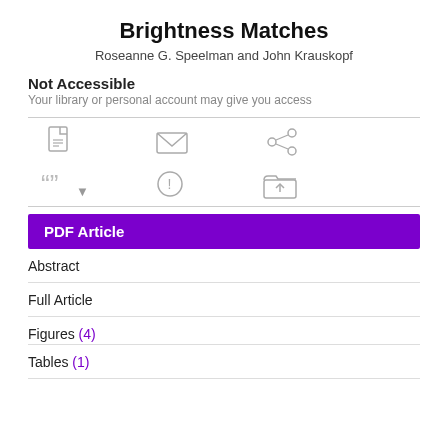Brightness Matches
Roseanne G. Speelman and John Krauskopf
Not Accessible
Your library or personal account may give you access
[Figure (infographic): Row of action icons: PDF document icon, envelope/email icon, share icon]
[Figure (infographic): Row of action icons: quotation marks with dropdown, info/alert circle icon, upload to folder icon]
PDF Article
Abstract
Full Article
Figures (4)
Tables (1)